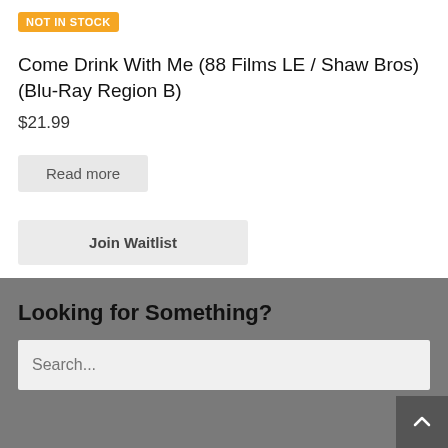NOT IN STOCK
Come Drink With Me (88 Films LE / Shaw Bros) (Blu-Ray Region B)
$21.99
Read more
Join Waitlist
Looking for Something?
Search...
Browse
Featured Titles